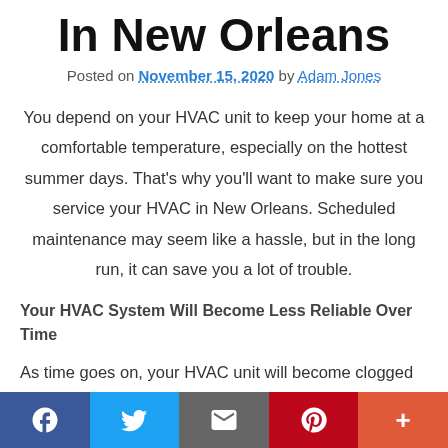In New Orleans
Posted on November 15, 2020 by Adam Jones
You depend on your HVAC unit to keep your home at a comfortable temperature, especially on the hottest summer days. That's why you'll want to make sure you service your HVAC in New Orleans. Scheduled maintenance may seem like a hassle, but in the long run, it can save you a lot of trouble.
Your HVAC System Will Become Less Reliable Over Time
As time goes on, your HVAC unit will become clogged with dirt. Parts won't be as well lubricated as they once were. All of these things can have an impact on your unit's